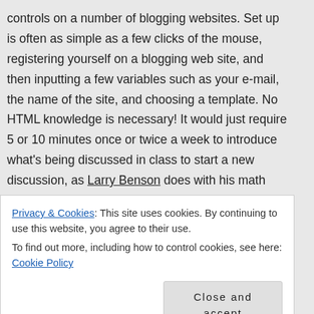controls on a number of blogging websites. Set up is often as simple as a few clicks of the mouse, registering yourself on a blogging web site, and then inputting a few variables such as your e-mail, the name of the site, and choosing a template. No HTML knowledge is necessary! It would just require 5 or 10 minutes once or twice a week to introduce what's being discussed in class to start a new discussion, as Larry Benson does with his math class. The workload is further reduced because you can continue to use the site from year to year, as students are able to draw from a previous class' experience and add their own knowledge. Below are a few sites that can help you get started with
Privacy & Cookies: This site uses cookies. By continuing to use this website, you agree to their use. To find out more, including how to control cookies, see here: Cookie Policy